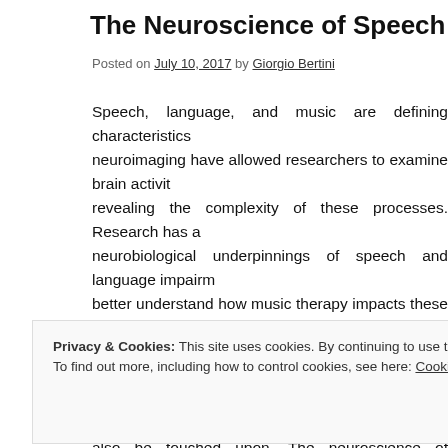The Neuroscience of Speech and Langua...
Posted on July 10, 2017 by Giorgio Bertini
Speech, language, and music are defining characteristics... neuroimaging have allowed researchers to examine brain activit... revealing the complexity of these processes. Research has a... neurobiological underpinnings of speech and language impairm... better understand how music therapy impacts these impair... manuscript is to provide an overview of the neuroscience of spe... therapy in the treatment of speech and language impairments,... also be touched upon. The neuroscience of auditory processin... production will be provided, followed by a brief overview of th... and aphasia and implications for music therapy
Privacy & Cookies: This site uses cookies. By continuing to use this website, you agree to their use.
To find out more, including how to control cookies, see here: Cookie Policy
enhanced communication with other medical professionals.